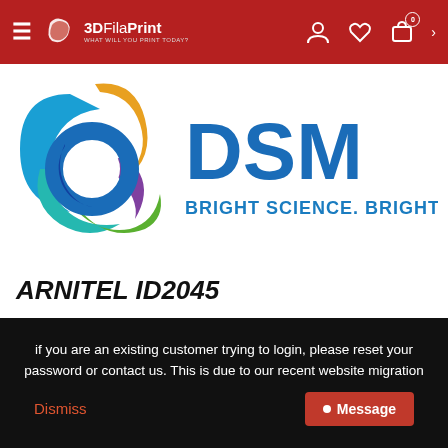3DFilaPrint — WHAT WILL YOU PRINT TODAY?
[Figure (logo): DSM logo with multicolored swirl icon and text 'DSM / BRIGHT SCIENCE. BRIGHTER LIVING.']
ARNITEL ID2045
The Arnitel ID 2045 3D printing filament, is a material that many of you have been asking for.  This unique 3D desktop printing filament...
if you are an existing customer trying to login, please reset your password or contact us. This is due to our recent website migration
Dismiss    Message